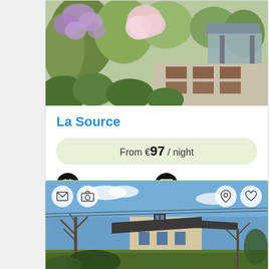[Figure (photo): Garden terrace with wisteria and flowering trees, outdoor dining area with tables under a gazebo, aerial/elevated view]
La Source
From €97 / night
Book Now
Contact
[Figure (photo): Stone building/house with dark roof, blue sky, bare trees in foreground, with overlay icons for email, camera, location pin, and heart/favorite]